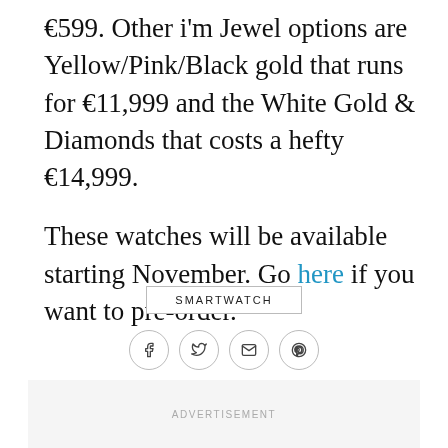€599.  Other i'm Jewel options are Yellow/Pink/Black gold that runs for €11,999 and the White Gold & Diamonds that costs a hefty €14,999.

These watches will be available starting November.  Go here if you want to pre-order.
SMARTWATCH
[Figure (other): Social share buttons: Facebook, Twitter, Email, Pinterest]
ADVERTISEMENT